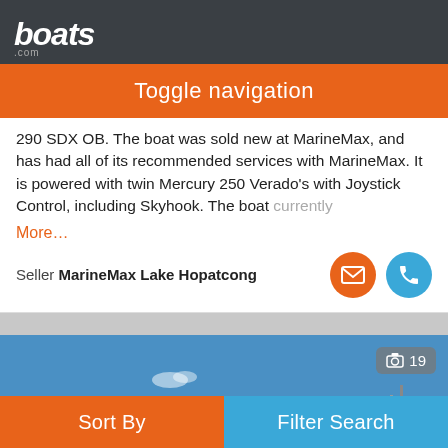boats.com
Toggle navigation
290 SDX OB. The boat was sold new at MarineMax, and has had all of its recommended services with MarineMax. It is powered with twin Mercury 250 Verado's with Joystick Control, including Skyhook. The boat currently
More…
Seller MarineMax Lake Hopatcong
[Figure (photo): Marina with wooden docks and pilings, blue sky, boats in background, photo counter showing 19]
Sort By   Filter Search